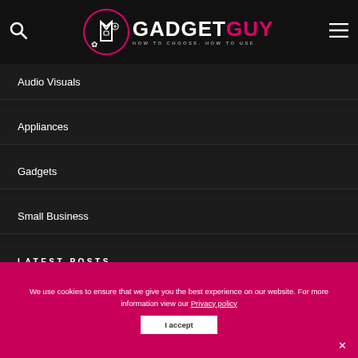GADGETGUY HOW TO CHOOSE. HOW TO USE.
Audio Visuals
Appliances
Gadgets
Small Business
LATEST POSTS
We use cookies to ensure that we give you the best experience on our website. For more information view our Privacy policy
I accept